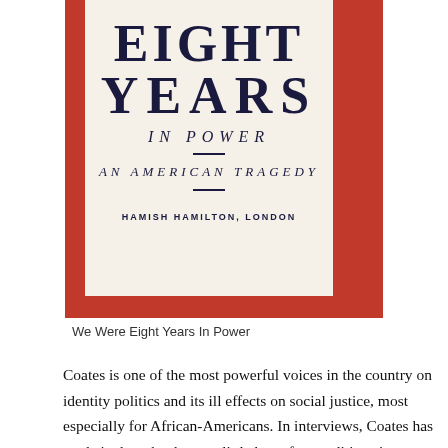[Figure (photo): Book cover of 'We Were Eight Years In Power: An American Tragedy' published by Hamish Hamilton, London. Cover has red background with cream/off-white inset panel showing title text in large serif font.]
We Were Eight Years In Power
Coates is one of the most powerful voices in the country on identity politics and its ill effects on social justice, most especially for African-Americans. In interviews, Coates has made it clear that he sees little hope for conditions in America to improve with